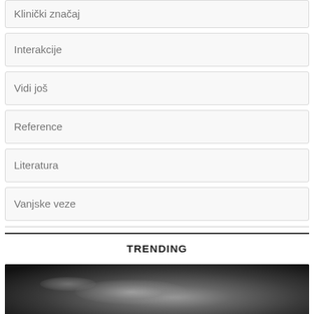Klinički značaj
Interakcije
Vidi još
Reference
Literatura
Vanjske veze
TRENDING
[Figure (photo): Black and white medical or scientific photograph, partially visible at bottom of page]